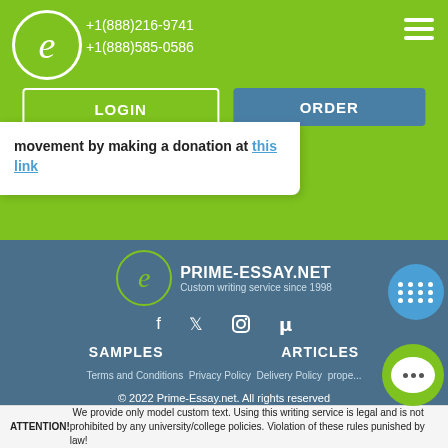+1(888)216-9741  +1(888)585-0586
[Figure (logo): Circular logo with letter e]
LOGIN
ORDER
movement by making a donation at this link
[Figure (logo): Prime-Essay.net footer logo with circular e mark and tagline Custom writing service since 1998]
f  twitter  instagram  pinterest (social icons)
SAMPLES    ARTICLES
Terms and Conditions  Privacy Policy  Delivery Policy  prope...
© 2022 Prime-Essay.net. All rights reserved
Online Writing and Services sp. z.o.o.
37 Domaniewska str., lok. 2,43, Warsaw, Poland, 02-672.
ATTENTION! We provide only model custom text. Using this writing service is legal and is not prohibited by any university/college policies. Violation of these rules punished by law!